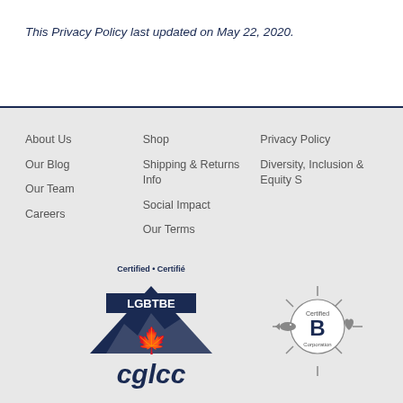This Privacy Policy last updated on May 22, 2020.
About Us
Our Blog
Our Team
Careers
Shop
Shipping & Returns Info
Social Impact
Our Terms
Privacy Policy
Diversity, Inclusion & Equity S
[Figure (logo): CGLCC LGBTBE Certified logo — dark navy inverted triangle with maple leaf and 'cglcc' wordmark, text 'Certified • Certifié' above]
[Figure (logo): Certified B Corporation logo with fish and heart icons, sunburst rays]